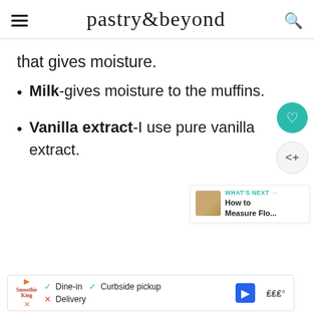pastry&beyond
that gives moisture.
Milk-gives moisture to the muffins.
Vanilla extract-I use pure vanilla extract.
WHAT'S NEXT → How to Measure Flo...
Dine-in  Curbside pickup  Delivery